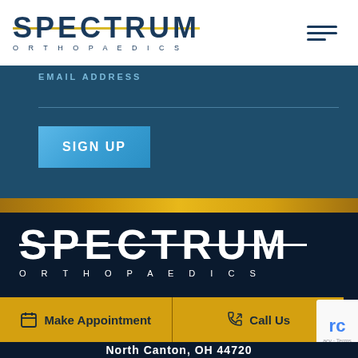[Figure (logo): Spectrum Orthopaedics logo in blue with gold horizontal line through SPECTRUM text, hamburger menu icon top right]
EMAIL ADDRESS
[Figure (screenshot): Sign Up button in light blue]
[Figure (logo): Spectrum Orthopaedics logo in white on dark navy background]
Make Appointment
Call Us
North Canton, OH 44720